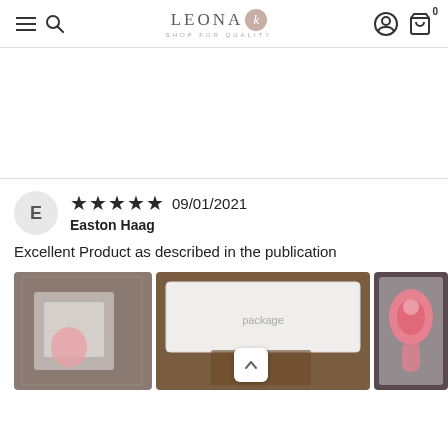Leona K — Shop For Quality — navigation header
Excellent Product as described in the publication
Easton Haag  ★★★★★  09/01/2021
[Figure (photo): Three product photos: packaged items in plastic bags and a pink baby food feeder/pacifier]